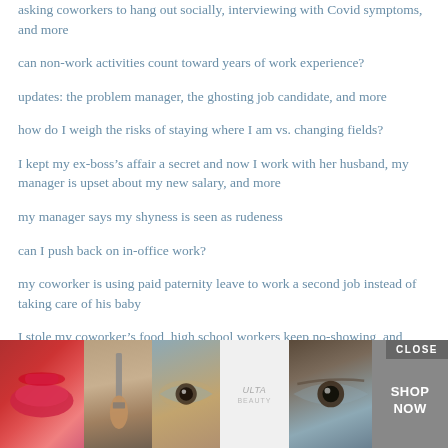asking coworkers to hang out socially, interviewing with Covid symptoms, and more
can non-work activities count toward years of work experience?
updates: the problem manager, the ghosting job candidate, and more
how do I weigh the risks of staying where I am vs. changing fields?
I kept my ex-boss’s affair a secret and now I work with her husband, my manager is upset about my new salary, and more
my manager says my shyness is seen as rudeness
can I push back on in-office work?
my coworker is using paid paternity leave to work a second job instead of taking care of his baby
I stole my coworker’s food, high school workers keep no-showing, and more
my coworker posts love notes from their partner all over our shared office
update: how do I get my chatty coworkers to stop saying wildly inappropriate
my bo
[Figure (advertisement): Ulta Beauty advertisement banner with makeup images (lips, brush, eye, Ulta logo, eye) and SHOP NOW button with CLOSE button in top right]